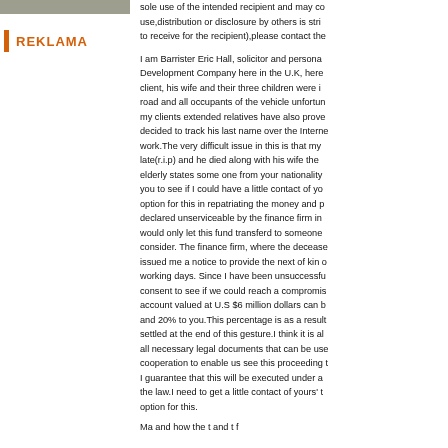sole use of the intended recipient and may co... use,distribution or disclosure by others is stri... to receive for the recipient),please contact the
REKLAMA
I am Barrister Eric Hall, solicitor and persona... Development Company here in the U.K, here... client, his wife and their three children were i... road and all occupants of the vehicle unfortun... my clients extended relatives have also prove... decided to track his last name over the Interne... work.The very difficult issue in this is that m... late(r.i.p) and he died along with his wife the... elderly states some one from your nationality... you to see if I could have a little contact of yo... option for this in repatriating the money and p... declared unserviceable by the finance firm in... would only let this fund transferd to someone... consider. The finance firm, where the decease... issued me a notice to provide the next of kin o... working days. Since I have been unsuccessfu... consent to see if we could reach a compromis... account valued at U.S $6 million dollars can b... and 20% to you.This percentage is as a result... settled at the end of this gesture.I think it is a... all necessary legal documents that can be use... cooperation to enable us see this proceeding t... I guarantee that this will be executed under a... the law.I need to get a little contact of yours' t... option for this.
Ma and how the t and t f